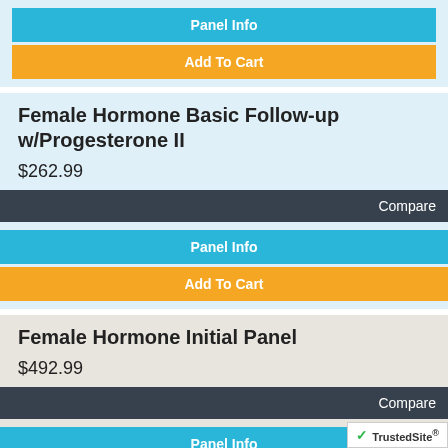Panel Info
Add To Cart
Female Hormone Basic Follow-up w/Progesterone II
$262.99
Compare
Panel Info
Add To Cart
Female Hormone Initial Panel
$492.99
Compare
Panel Info
Add To Cart
Female Hormone Initial Panel w/Progesterone
$535.99
[Figure (logo): TrustedSite badge with green checkmark]